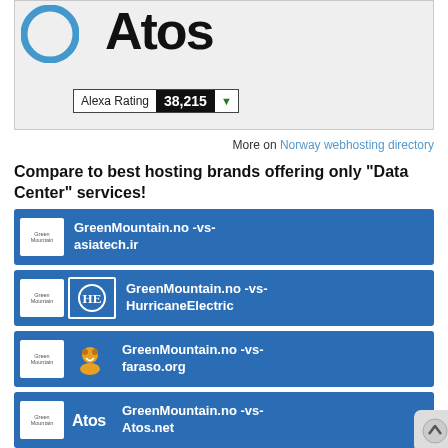[Figure (logo): Atos company logo in bold black text, partial view of a blue circular icon on the left]
Alexa Rating 38,215
More on Norway webhosting directory
Compare to best hosting brands offering only "Data Center" services!
GreenMountain.no -vs- asiatech.ir
GreenMountain.no -vs- HurricaneElectric
GreenMountain.no -vs- faraso.org
GreenMountain.no -vs- Atos.net